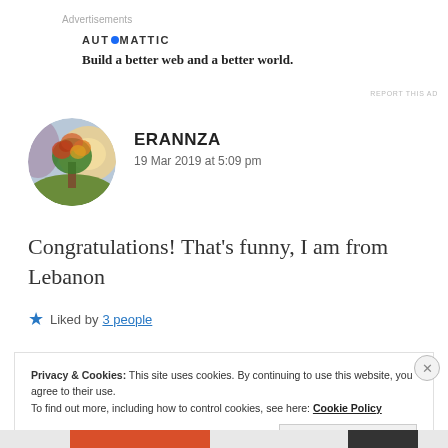Advertisements
[Figure (logo): Automattic logo with circular blue dot in the O]
Build a better web and a better world.
REPORT THIS AD
[Figure (illustration): Round avatar image of a colorful painted tree with autumn leaves against a sunrise/sunset sky]
ERANNZA
19 Mar 2019 at 5:09 pm
Congratulations! That’s funny, I am from Lebanon
★ Liked by 3 people
Privacy & Cookies: This site uses cookies. By continuing to use this website, you agree to their use.
To find out more, including how to control cookies, see here: Cookie Policy
Close and accept